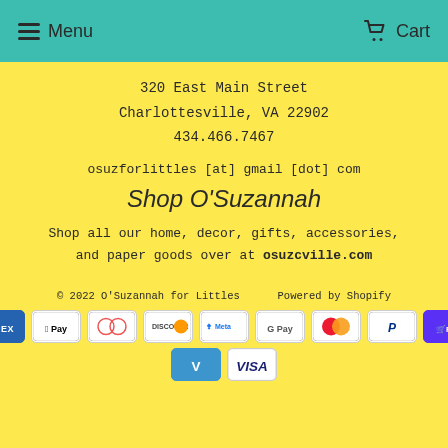Menu   Cart
320 East Main Street
Charlottesville, VA 22902
434.466.7467
osuzforlittles [at] gmail [dot] com
Shop O'Suzannah
Shop all our home, decor, gifts, accessories, and paper goods over at osuzcville.com
© 2022 O'Suzannah for Littles    Powered by Shopify
[Figure (other): Payment method icons: American Express, Apple Pay, Diners Club, Discover, Meta Pay, Google Pay, Mastercard, PayPal, Shop Pay, Venmo, Visa]